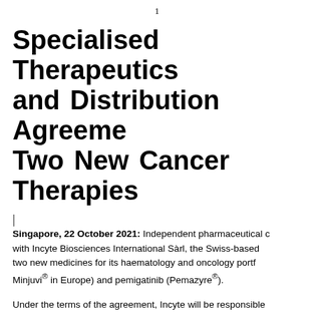1
Specialised Therapeutics and Distribution Agreement for Two New Cancer Therapies
| Singapore, 22 October 2021: Independent pharmaceutical c… with Incyte Biosciences International Sàrl, the Swiss-based … two new medicines for its haematology and oncology portf… Minjuvi® in Europe) and pemigatinib (Pemazyre®).
Under the terms of the agreement, Incyte will be responsible… and ST will be responsible for regulatory, distribution and lo… Singapore.